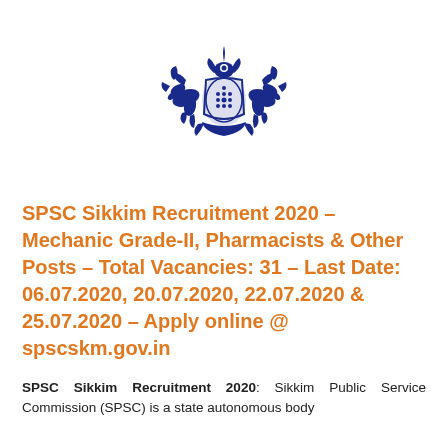[Figure (logo): Sikkim Public Service Commission official blue emblem/coat of arms with two mythical birds flanking a central ornate shield]
SPSC Sikkim Recruitment 2020 – Mechanic Grade-II, Pharmacists & Other Posts – Total Vacancies: 31 – Last Date: 06.07.2020, 20.07.2020, 22.07.2020 & 25.07.2020 – Apply online @ spscskm.gov.in
SPSC Sikkim Recruitment 2020: Sikkim Public Service Commission (SPSC) is a state autonomous body